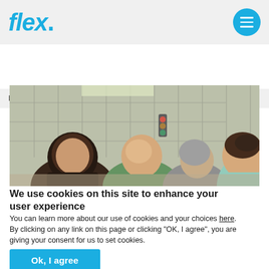flex.
Flex » Resources » Flex: Do the right thing, always
[Figure (photo): Four people leaning over a work surface in an industrial/laboratory setting, examining something. Background shows shelving and equipment.]
We use cookies on this site to enhance your user experience
You can learn more about our use of cookies and your choices here. By clicking on any link on this page or clicking "OK, I agree", you are giving your consent for us to set cookies.
Ok, I agree